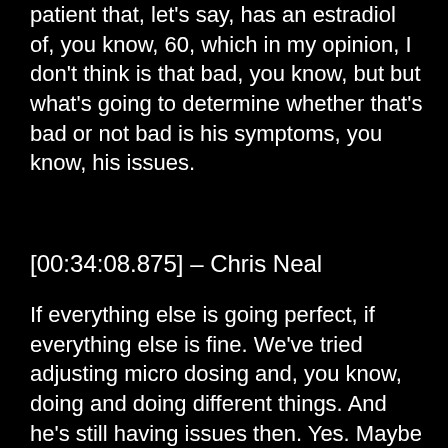patient that, let's say, has an estradiol of, you know, 60, which in my opinion, I don't think is that bad, you know, but but what's going to determine whether that's bad or not bad is his symptoms, you know, his issues.
[00:34:08.875] – Chris Neal
If everything else is going perfect, if everything else is fine. We've tried adjusting micro dosing and, you know, doing and doing different things. And he's still having issues then. Yes. Maybe instituting some Anastrazole or if not an